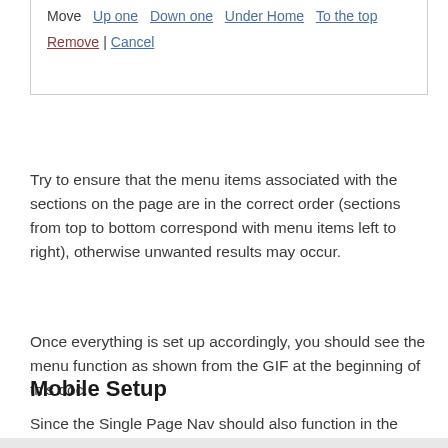Move  Up one  Down one  Under Home  To the top

Remove | Cancel
Try to ensure that the menu items associated with the sections on the page are in the correct order (sections from top to bottom correspond with menu items left to right), otherwise unwanted results may occur.
Once everything is set up accordingly, you should see the menu function as shown from the GIF at the beginning of this doc.
Mobile Setup
Since the Single Page Nav should also function in the mobile view, we would encourage you to remove the mobile menu particle from the Offcanvas section: